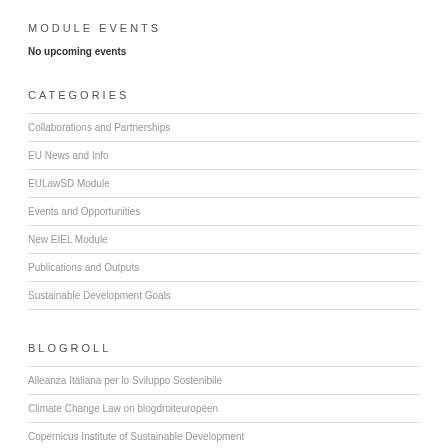MODULE EVENTS
No upcoming events
CATEGORIES
Collaborations and Partnerships
EU News and Info
EULawSD Module
Events and Opportunities
New EIEL Module
Publications and Outputs
Sustainable Development Goals
BLOGROLL
Alleanza Italiana per lo Sviluppo Sostenibile
Climate Change Law on blogdroiteuropéen
Copernicus Institute of Sustainable Development